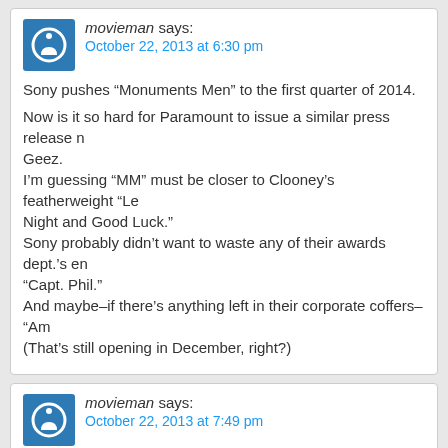movieman says: October 22, 2013 at 6:30 pm
Sony pushes “Monuments Men” to the first quarter of 2014.

Now is it so hard for Paramount to issue a similar press release n… Geez.
I’m guessing “MM” must be closer to Clooney’s featherweight “Le… Night and Good Luck.”
Sony probably didn’t want to waste any of their awards dept.’s en… “Capt. Phil.”
And maybe–if there’s anything left in their corporate coffers– “Am…
(That’s still opening in December, right?)
movieman says: October 22, 2013 at 7:49 pm
It’s still uncertain whether Paramount also will move Martin Scors… to 2014. The director is racing to finish the film and should know … coming weeks, according to sources.

“…should know whether can within the coming weeks…”?!?
Guess that means November 15th is officially off the table.